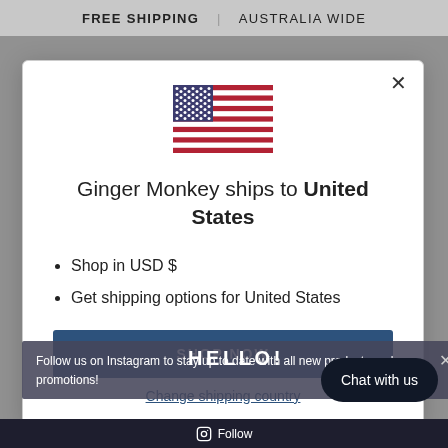FREE SHIPPING | AUSTRALIA WIDE
[Figure (illustration): US flag emoji/icon centered in modal dialog]
Ginger Monkey ships to United States
Shop in USD $
Get shipping options for United States
SHOP NOW
HELLO!
Follow us on Instagram to stay up to date with all new products and promotions!
Change shipping country
Chat with us
Follow